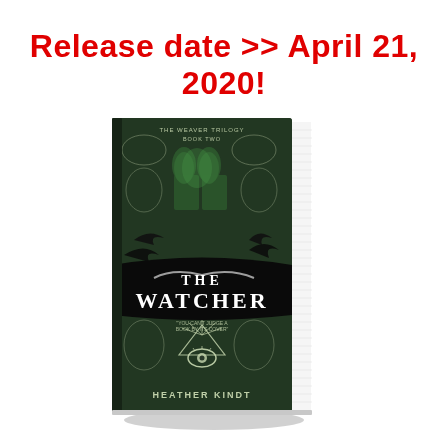Release date >> April 21, 2020!
[Figure (photo): 3D perspective photo of the book 'The Watcher' by Heather Kindt. The book cover features dark green and black tones with ornate botanical/floral patterns and a large eye symbol at the bottom. The title 'THE WATCHER' is displayed prominently in white text on a black banner. Text at top reads 'THE WEAVER TRILOGY BOOK TWO'. Author name 'HEATHER KINDT' at the bottom. The book is shown in a slight 3D angle showing the spine and pages on the right side.]